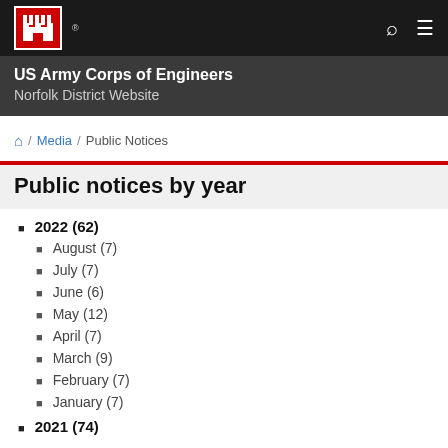US Army Corps of Engineers — Norfolk District Website
Home / Media / Public Notices
Public notices by year
2022 (62)
August (7)
July (7)
June (6)
May (12)
April (7)
March (9)
February (7)
January (7)
2021 (74)